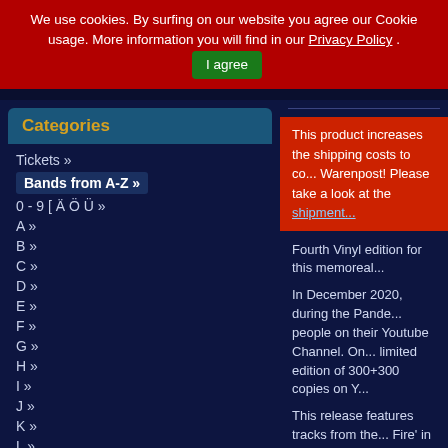We use cookies. By surfing on our website you agree our Cookie usage. More information you will find in our Privacy Policy . I agree
Categories
Tickets »
Bands from A-Z »
0 - 9 [ Ä Ö Ü »
A »
B »
C »
D »
E »
F »
G »
H »
I »
J »
K »
L »
M »
M!R!M
M. W. Wild
M.IN.E
M73
This product increases the shipping costs to co... Warenpost! Please take a look at the shipment...
Fourth Vinyl edition for this memoreal...
In December 2020, during the Pande... people on their Youtube Channel. On... limited edition of 300+300 copies on Y...
This release features tracks from the... Fire' in special and quite different live-...
Tracklisting:
| No. | Track |
| --- | --- |
| A1 | Don't run from the Fire - Live |
| A2 | Fear of Missing out - Live |
| A3 | Danger - Live |
| A4 | DRGS – Live |